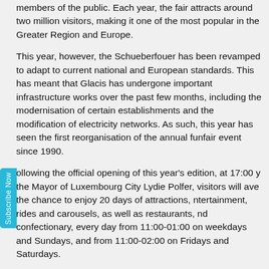members of the public. Each year, the fair attracts around two million visitors, making it one of the most popular in the Greater Region and Europe.
This year, however, the Schueberfouer has been revamped to adapt to current national and European standards. This has meant that Glacis has undergone important infrastructure works over the past few months, including the modernisation of certain establishments and the modification of electricity networks. As such, this year has seen the first reorganisation of the annual funfair event since 1990.
Following the official opening of this year's edition, at 17:00 by the Mayor of Luxembourg City Lydie Polfer, visitors will have the chance to enjoy 20 days of attractions, entertainment, rides and carousels, as well as restaurants, and confectionary, every day from 11:00-01:00 on weekdays and Sundays, and from 11:00-02:00 on Fridays and Saturdays.
New attractions for the 2017 edition include the "Jules Verne Tower", "Laser Pix", "Big Splash Surf Tiki", "Musikexpress", "Fuzzy's Lachsaloon", "Giant XXL Toboggan", "Ring Penner",